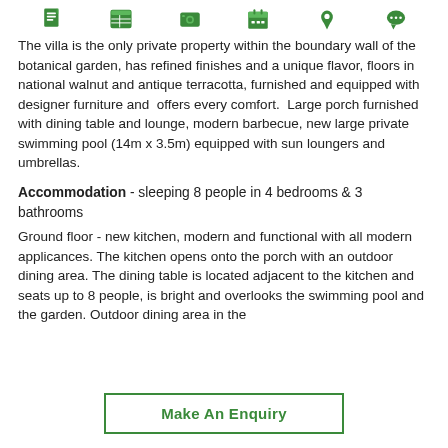[Figure (infographic): Row of six green icons: document, list/table, dollar/payment, calendar/checklist, map pin, speech bubble]
The villa is the only private property within the boundary wall of the botanical garden, has refined finishes and a unique flavor, floors in national walnut and antique terracotta, furnished and equipped with designer furniture and offers every comfort. Large porch furnished with dining table and lounge, modern barbecue, new large private swimming pool (14m x 3.5m) equipped with sun loungers and umbrellas.
Accommodation - sleeping 8 people in 4 bedrooms & 3 bathrooms
Ground floor - new kitchen, modern and functional with all modern applicances. The kitchen opens onto the porch with an outdoor dining area. The dining table is located adjacent to the kitchen and seats up to 8 people, is bright and overlooks the swimming pool and the garden. Outdoor dining area in the
Make An Enquiry